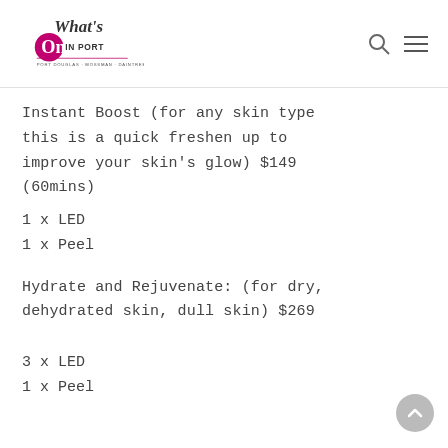[Figure (logo): What's On IN PORT logo with subtitle PORT DOUGLAS · MOSSMAN · DAINTREE]
Instant Boost (for any skin type this is a quick freshen up to improve your skin's glow) $149 (60mins)
1 x LED
1 x Peel
Hydrate and Rejuvenate: (for dry, dehydrated skin, dull skin) $269
3 x LED
1 x Peel